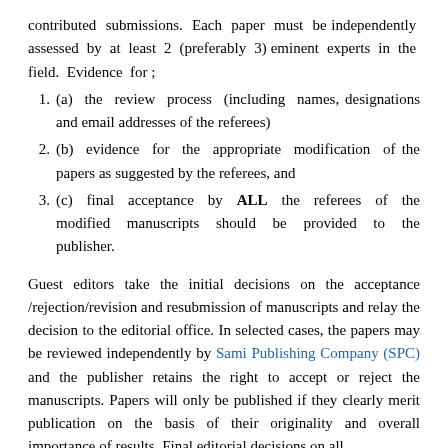contributed submissions. Each paper must be independently assessed by at least 2 (preferably 3) eminent experts in the field. Evidence for ;
(a) the review process (including names, designations and email addresses of the referees)
(b) evidence for the appropriate modification of the papers as suggested by the referees, and
(c) final acceptance by ALL the referees of the modified manuscripts should be provided to the publisher.
Guest editors take the initial decisions on the acceptance/rejection/revision and resubmission of manuscripts and relay the decision to the editorial office. In selected cases, the papers may be reviewed independently by Sami Publishing Company (SPC) and the publisher retains the right to accept or reject the manuscripts. Papers will only be published if they clearly merit publication on the basis of their originality and overall importance of results. Final editorial decisions on all